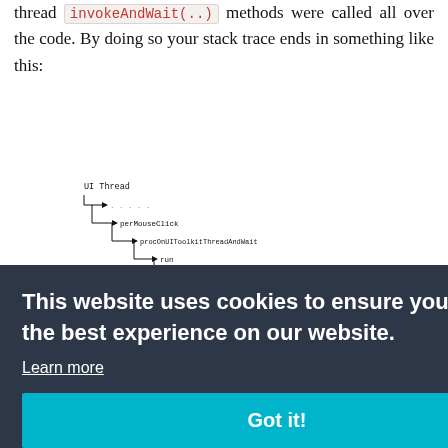thread invokeAndWait(..) methods were called all over the code. By doing so your stack trace ends in something like this:
[Figure (flowchart): A stack trace diagram showing nested UI Thread calls: UI Thread -> perMouseClick -> procOnUIToolkitThreadAndWait -> run -> runOnUIToolkitThreadAndNat -> run -> procOnUIToolkitThreadAndWait -> run -> doSomething]
This website uses cookies to ensure you get the best experience on our website.
Learn more
Got it!
way how to handle this problems. JSR-377 will